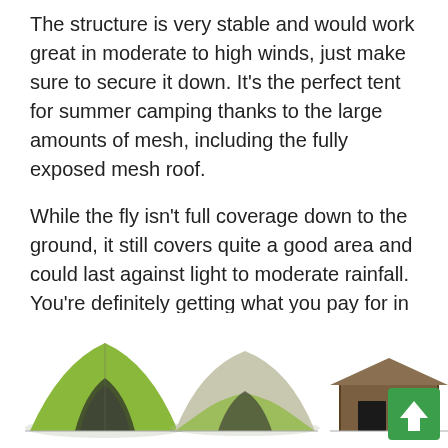The structure is very stable and would work great in moderate to high winds, just make sure to secure it down. It's the perfect tent for summer camping thanks to the large amounts of mesh, including the fully exposed mesh roof.
While the fly isn't full coverage down to the ground, it still covers quite a good area and could last against light to moderate rainfall.  You're definitely getting what you pay for in terms of great quality and durability to last a lifetime.
Shop Related Products
[Figure (photo): Three camping tents shown side by side. Left tent is green/yellow dome tent, middle tent is beige/green dome tent, right tent is dark brown/tan cabin tent. A green scroll-to-top button overlays the bottom-right corner.]